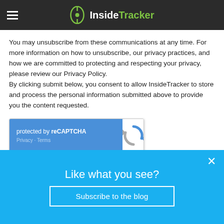InsideTracker
You may unsubscribe from these communications at any time. For more information on how to unsubscribe, our privacy practices, and how we are committed to protecting and respecting your privacy, please review our Privacy Policy.
By clicking submit below, you consent to allow InsideTracker to store and process the personal information submitted above to provide you the content requested.
[Figure (other): reCAPTCHA widget with blue left panel showing 'protected by reCAPTCHA' text and Privacy - Terms links, and white right panel with reCAPTCHA logo icon]
Submit Comment
Like what you see?
Subscribe to the blog